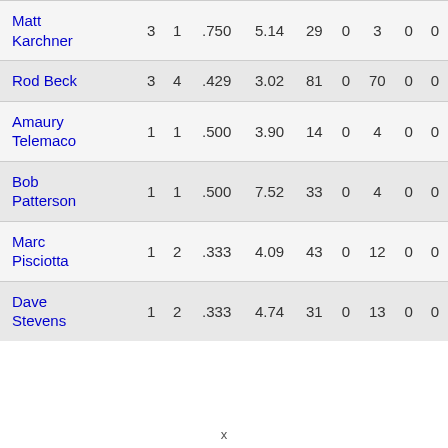| Name | W | L | PCT | ERA | G | GS | IP | CG | SHO |
| --- | --- | --- | --- | --- | --- | --- | --- | --- | --- |
| Matt Karchner | 3 | 1 | .750 | 5.14 | 29 | 0 | 3 | 0 | 0 |
| Rod Beck | 3 | 4 | .429 | 3.02 | 81 | 0 | 70 | 0 | 0 |
| Amaury Telemaco | 1 | 1 | .500 | 3.90 | 14 | 0 | 4 | 0 | 0 |
| Bob Patterson | 1 | 1 | .500 | 7.52 | 33 | 0 | 4 | 0 | 0 |
| Marc Pisciotta | 1 | 2 | .333 | 4.09 | 43 | 0 | 12 | 0 | 0 |
| Dave Stevens | 1 | 2 | .333 | 4.74 | 31 | 0 | 13 | 0 | 0 |
x